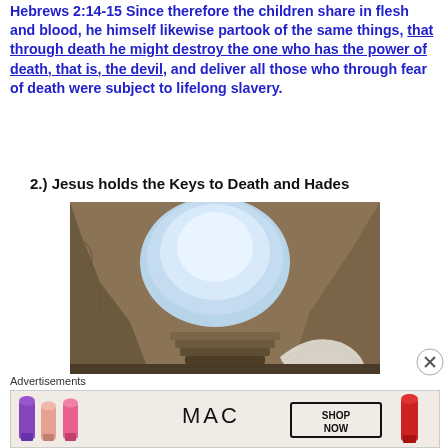Hebrews 2:14-15 Since therefore the children share in flesh and blood, he himself likewise partook of the same things, that through death he might destroy the one who has the power of death, that is, the devil, and deliver all those who through fear of death were subject to lifelong slavery.
2.) Jesus holds the Keys to Death and Hades
[Figure (photo): Photo of an ancient stone tomb or cave with an arched opening letting in light, showing stone steps inside and what appears to be burial cloths on the right side.]
Advertisements
[Figure (photo): MAC Cosmetics advertisement showing lipsticks in purple, pink and red with 'MAC' logo and 'SHOP NOW' button.]